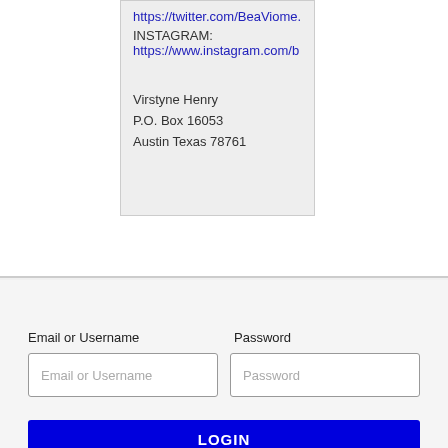https://twitter.com/BeaViome...
INSTAGRAM:
https://www.instagram.com/b
Virstyne Henry
P.O. Box 16053
Austin Texas 78761
Email or Username
Password
Email or Username
Password
LOGIN